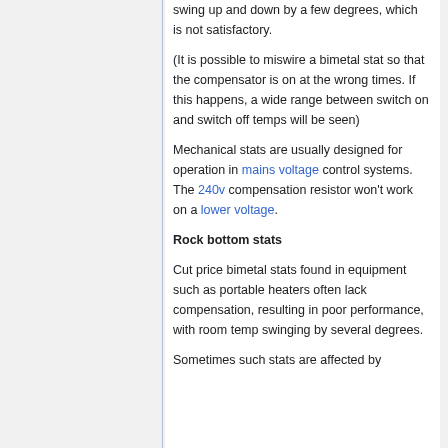swing up and down by a few degrees, which is not satisfactory.
(It is possible to miswire a bimetal stat so that the compensator is on at the wrong times. If this happens, a wide range between switch on and switch off temps will be seen)
Mechanical stats are usually designed for operation in mains voltage control systems. The 240v compensation resistor won't work on a lower voltage.
Rock bottom stats
Cut price bimetal stats found in equipment such as portable heaters often lack compensation, resulting in poor performance, with room temp swinging by several degrees.
Sometimes such stats are affected by